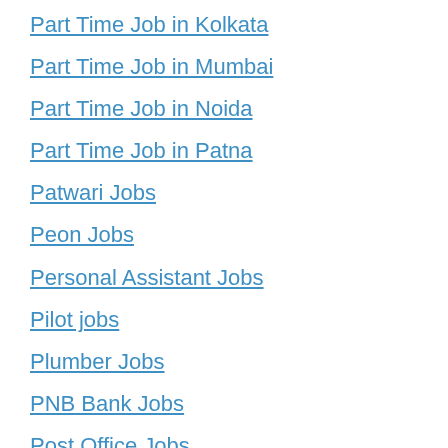Part Time Job in Kolkata
Part Time Job in Mumbai
Part Time Job in Noida
Part Time Job in Patna
Patwari Jobs
Peon Jobs
Personal Assistant Jobs
Pilot jobs
Plumber Jobs
PNB Bank Jobs
Post Office Jobs
Private Company Jobs
Private Job in Bangalore